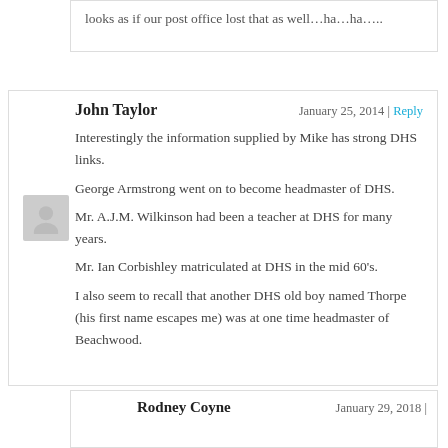looks as if our post office lost that as well…ha…ha…..
John Taylor
January 25, 2014 | Reply
Interestingly the information supplied by Mike has strong DHS links.
George Armstrong went on to become headmaster of DHS.
Mr. A.J.M. Wilkinson had been a teacher at DHS for many years.
Mr. Ian Corbishley matriculated at DHS in the mid 60's.
I also seem to recall that another DHS old boy named Thorpe (his first name escapes me) was at one time headmaster of Beachwood.
Rodney Coyne
January 29, 2018 |